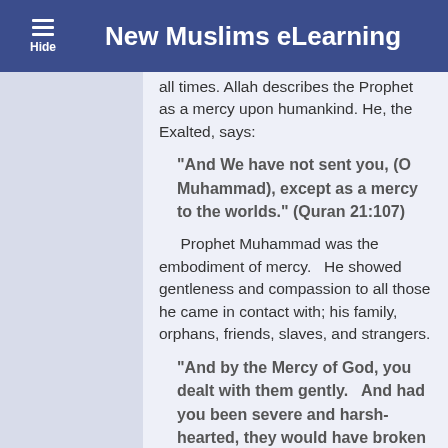New Muslims eLearning
all times.  Allah describes the Prophet as a mercy upon humankind. He, the Exalted, says:
“And We have not sent you, (O Muhammad), except as a mercy to the worlds.” (Quran 21:107)
Prophet Muhammad was the embodiment of mercy.   He showed gentleness and compassion to all those he came in contact with; his family, orphans, friends, slaves, and strangers.
“And by the Mercy of God, you dealt with them gently.   And had you been severe and harsh-hearted, they would have broken